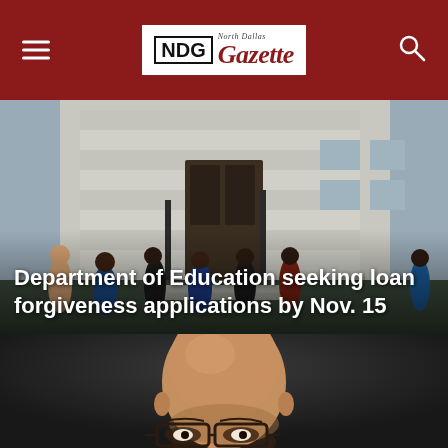NDG North Dallas Gazette
[Figure (photo): Students walking outside a large classical stone building with columns and a dark wooden door. Several students visible in foreground and background, daytime, overcast.]
Department of Education seeking loan forgiveness applications by Nov. 15
[Figure (photo): Close-up portrait of a bald African American man wearing dark-rimmed glasses, dark background.]